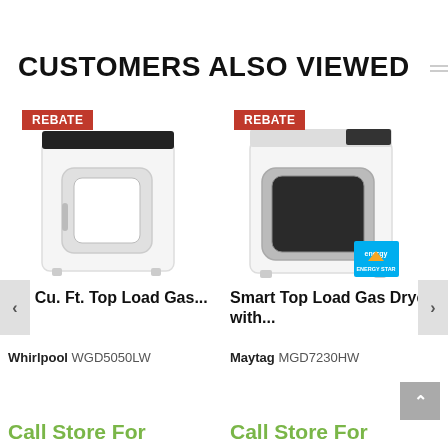CUSTOMERS ALSO VIEWED
[Figure (photo): White top load gas dryer with REBATE badge overlay]
[Figure (photo): White smart top load gas dryer with REBATE badge and ENERGY STAR badge]
7.0 Cu. Ft. Top Load Gas...
Smart Top Load Gas Dryer with...
Whirlpool WGD5050LW
Maytag MGD7230HW
Call Store For
Call Store For